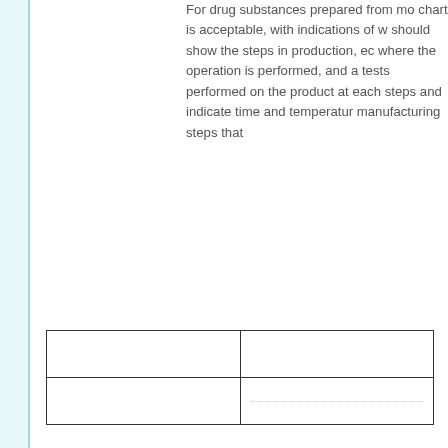For drug substances prepared from mo chart is acceptable, with indications of w should show the steps in production, ec where the operation is performed, and a tests performed on the product at each steps and indicate time and temperatur manufacturing steps that
|  |  |
|  | …… |